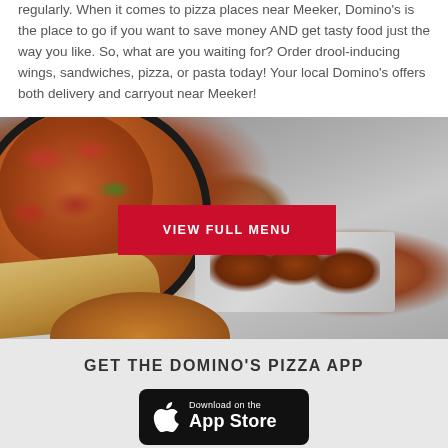regularly. When it comes to pizza places near Meeker, Domino's is the place to go if you want to save money AND get tasty food just the way you like. So, what are you waiting for? Order drool-inducing wings, sandwiches, pizza, or pasta today! Your local Domino's offers both delivery and carryout near Meeker!
[Figure (photo): Food collage showing pizza, sandwich wrap, wings, and pasta with a red 'VIEW FULL MENU' button overlay]
GET THE DOMINO'S PIZZA APP
[Figure (logo): Download on the App Store badge with Apple logo]